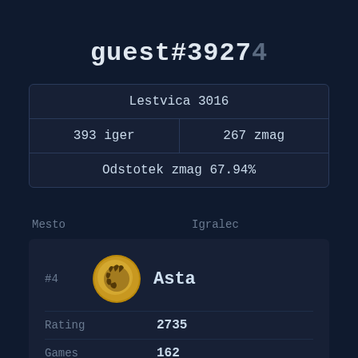guest#39274
| Lestvica 3016 |  |
| --- | --- |
| 393 iger | 267 zmag |
| Odstotek zmag 67.94% |  |
Mesto    Igralec
| #4 | Asta |
| --- | --- |
| Rating | 2735 |
| Games | 162 |